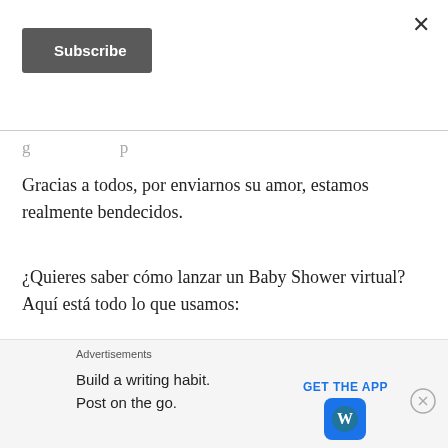Subscribe
g … p
Gracias a todos, por enviarnos su amor, estamos realmente bendecidos.
¿Quieres saber cómo lanzar un Baby Shower virtual? Aquí está todo lo que usamos:
Lo que necesitas para un Baby Shower Virtual…
Advertisements
Build a writing habit. Post on the go.
GET THE APP